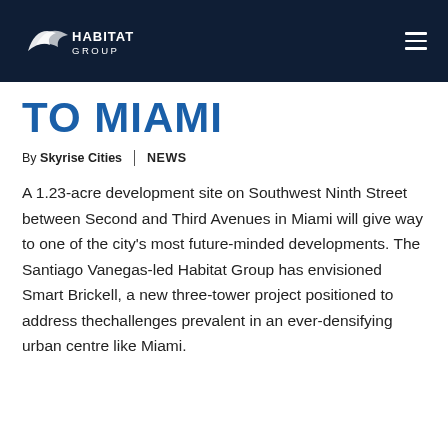[Figure (logo): Habitat Group logo with white bird/wing motif and white text on dark navy background]
TO MIAMI
By Skyrise Cities | NEWS
A 1.23-acre development site on Southwest Ninth Street between Second and Third Avenues in Miami will give way to one of the city's most future-minded developments. The Santiago Vanegas-led Habitat Group has envisioned Smart Brickell, a new three-tower project positioned to address thechallenges prevalent in an ever-densifying urban centre like Miami.